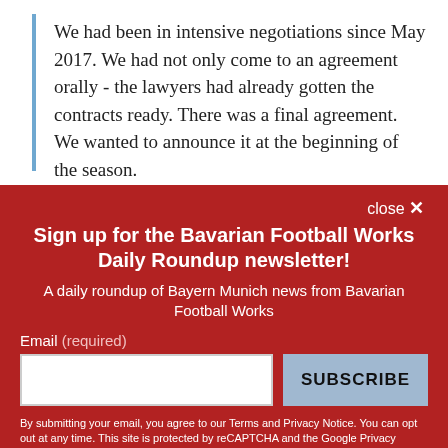We had been in intensive negotiations since May 2017. We had not only come to an agreement orally - the lawyers had already gotten the contracts ready. There was a final agreement. We wanted to announce it at the beginning of the season.
close ×
Sign up for the Bavarian Football Works Daily Roundup newsletter!
A daily roundup of Bayern Munich news from Bavarian Football Works
Email (required)
SUBSCRIBE
By submitting your email, you agree to our Terms and Privacy Notice. You can opt out at any time. This site is protected by reCAPTCHA and the Google Privacy Policy and Terms of Service apply.